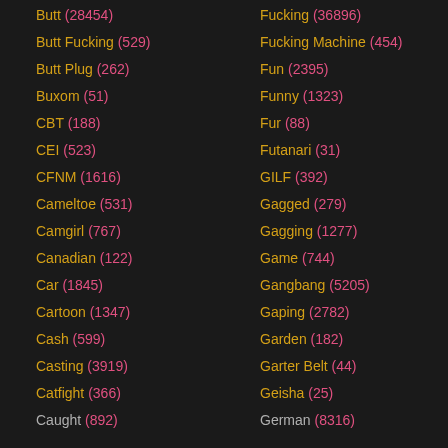Butt (28454)
Butt Fucking (529)
Butt Plug (262)
Buxom (51)
CBT (188)
CEI (523)
CFNM (1616)
Cameltoe (531)
Camgirl (767)
Canadian (122)
Car (1845)
Cartoon (1347)
Cash (599)
Casting (3919)
Catfight (366)
Caught (892)
Fucking (36896)
Fucking Machine (454)
Fun (2395)
Funny (1323)
Fur (88)
Futanari (31)
GILF (392)
Gagged (279)
Gagging (1277)
Game (744)
Gangbang (5205)
Gaping (2782)
Garden (182)
Garter Belt (44)
Geisha (25)
German (8316)